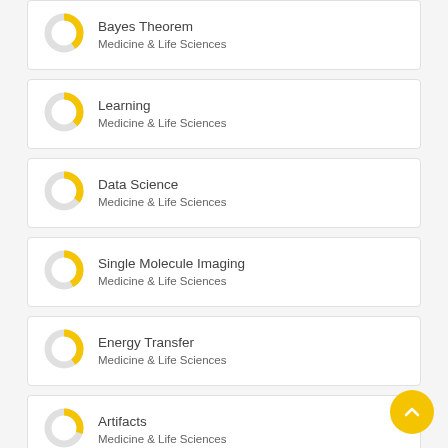Bayes Theorem
Medicine & Life Sciences
Learning
Medicine & Life Sciences
Data Science
Medicine & Life Sciences
Single Molecule Imaging
Medicine & Life Sciences
Energy Transfer
Medicine & Life Sciences
Artifacts
Medicine & Life Sciences
Data Analysis
Medicine & Life Sciences